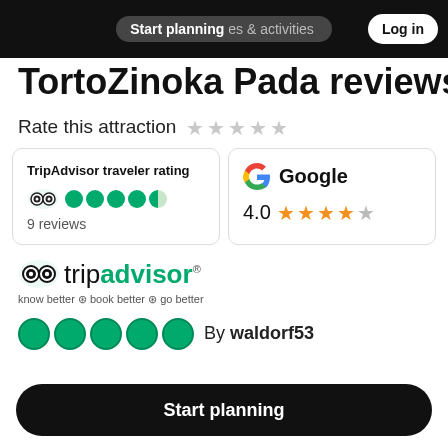Start planning  places & activities  Log in
TortoZinoka Pada reviews
Rate this attraction
| TripAdvisor traveler rating | Google |
| --- | --- |
| 4.0 bubbles / 9 reviews | 4.0 / 5 stars |
[Figure (logo): TripAdvisor logo with owl and tripadvisor text, tagline: know better book better go better]
By waldorf53
Start planning